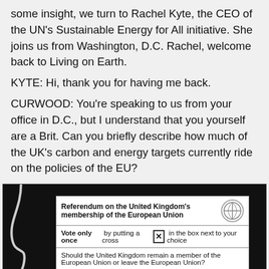some insight, we turn to Rachel Kyte, the CEO of the UN's Sustainable Energy for All initiative. She joins us from Washington, D.C. Rachel, welcome back to Living on Earth.
KYTE: Hi, thank you for having me back.
CURWOOD: You're speaking to us from your office in D.C., but I understand that you yourself are a Brit. Can you briefly describe how much of the UK's carbon and energy targets currently ride on the policies of the EU?
[Figure (photo): A photo of a Brexit referendum ballot paper showing: 'Referendum on the United Kingdom's membership of the European Union', 'Vote only once by putting a cross [X] in the box next to your choice', 'Should the United Kingdom remain a member of the European Union or leave the European Union?', 'Remain a member of the European Union' with an empty checkbox.]